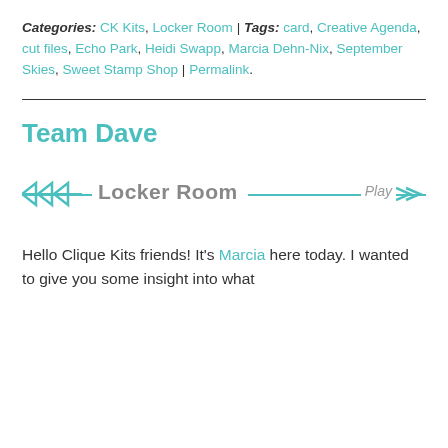Categories: CK Kits, Locker Room | Tags: card, Creative Agenda, cut files, Echo Park, Heidi Swapp, Marcia Dehn-Nix, September Skies, Sweet Stamp Shop | Permalink.
Team Dave
[Figure (other): Decorative banner graphic with teal arrow lines on left and right, 'Locker Room' in grey text and 'Play' label on the right side]
Hello Clique Kits friends! It's Marcia here today. I wanted to give you some insight into what